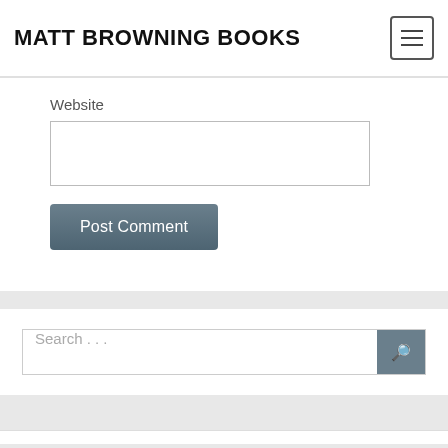MATT BROWNING BOOKS
Website
Post Comment